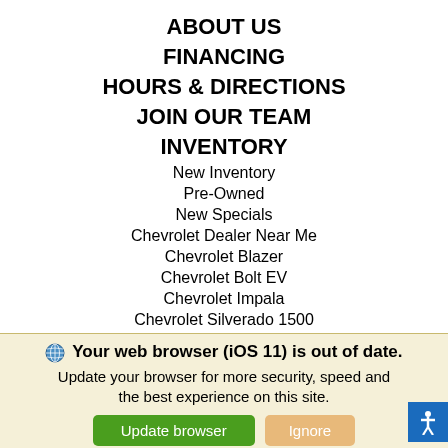ABOUT US
FINANCING
HOURS & DIRECTIONS
JOIN OUR TEAM
INVENTORY
New Inventory
Pre-Owned
New Specials
Chevrolet Dealer Near Me
Chevrolet Blazer
Chevrolet Bolt EV
Chevrolet Impala
Chevrolet Silverado 1500
Chevrolet Silverado 3500HD
Chevrolet Sonic
Your web browser (iOS 11) is out of date. Update your browser for more security, speed and the best experience on this site.